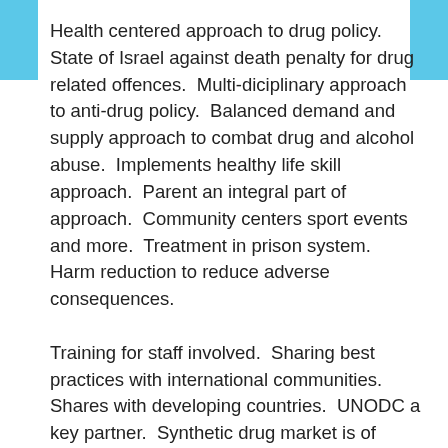Health centered approach to drug policy. State of Israel against death penalty for drug related offences. Multi-diciplinary approach to anti-drug policy. Balanced demand and supply approach to combat drug and alcohol abuse. Implements healthy life skill approach. Parent an integral part of approach. Community centers sport events and more. Treatment in prison system. Harm reduction to reduce adverse consequences.
Training for staff involved. Sharing best practices with international communities. Shares with developing countries. UNODC a key partner. Synthetic drug market is of concern to entire global community. one of the setbacks in achieving goal of POA. Early